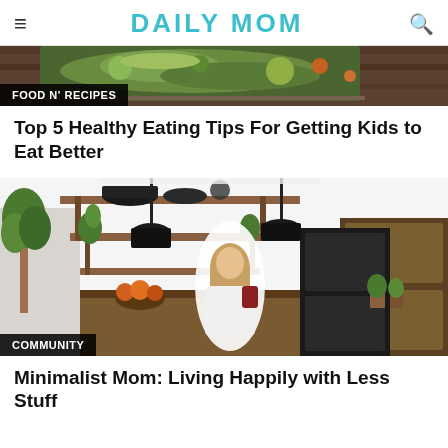DAILY MOM
[Figure (photo): Food photo showing vegetables and greens in a bowl/tray on a wooden surface, partially visible at top]
FOOD N' RECIPES
Top 5 Healthy Eating Tips For Getting Kids to Eat Better
[Figure (photo): Woman sitting in a modern minimalist kitchen with open shelves holding pots and plants, black pendant lights, wood furniture, holding a cup]
COMMUNITY
Minimalist Mom: Living Happily with Less Stuff